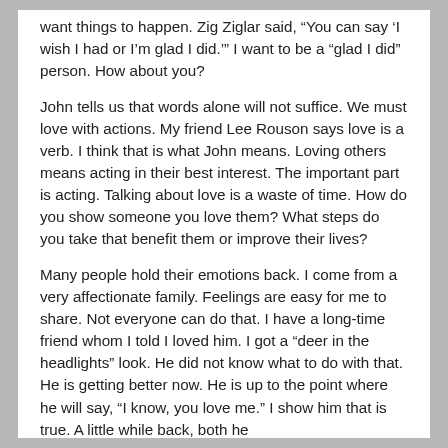want things to happen. Zig Ziglar said, 'You can say ‘I wish I had or I’m glad I did.’” I want to be a “glad I did” person. How about you?
John tells us that words alone will not suffice. We must love with actions. My friend Lee Rouson says love is a verb. I think that is what John means. Loving others means acting in their best interest. The important part is acting. Talking about love is a waste of time. How do you show someone you love them? What steps do you take that benefit them or improve their lives?
Many people hold their emotions back. I come from a very affectionate family. Feelings are easy for me to share. Not everyone can do that. I have a long-time friend whom I told I loved him. I got a “deer in the headlights” look. He did not know what to do with that. He is getting better now. He is up to the point where he will say, “I know, you love me.” I show him that is true. A little while back, both he